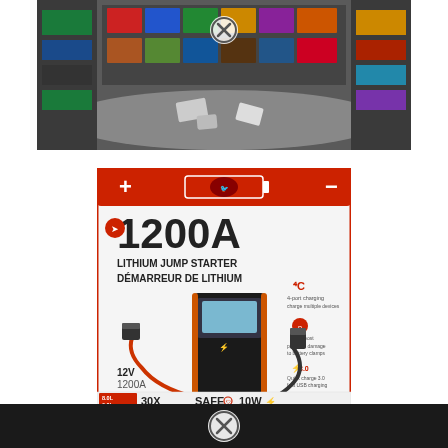[Figure (photo): Retail store aisle with product packaging displayed on shelves, wide-angle view showing colorful boxes arranged in a circular/panoramic display area on the floor and surrounding shelving units. A close icon (X in circle) is visible at the top center.]
[Figure (photo): Product box for a 1200A Lithium Jump Starter / Démarreur de Lithium. The box is white and red with black text. It shows the product (a black and orange portable jump starter device with jumper cables), and highlights: 12V 1200A, 4C charge, ProBoost, USB 3.0, 30X car charges, SAFE, 10W wireless charging. Brand logo at top.]
[Figure (photo): Dark footer bar at the bottom of the page with a close/dismiss icon (X in circle) centered on it.]